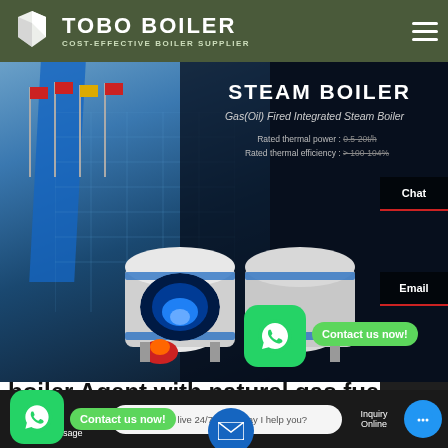[Figure (screenshot): Tobo Boiler website screenshot showing header with logo, steam boiler product hero banner with boiler images, contact buttons, WhatsApp overlays, and bottom toolbar navigation]
TOBO BOILER
COST-EFFECTIVE BOILER SUPPLIER
STEAM BOILER
Gas(Oil) Fired Integrated Steam Boiler
Rated thermal power : 0.5-20t/h
Rated thermal efficiency : > 100-104%
Chat
Email
Contact us now!
boiler Agent with natural gas fuel
Contact us now!
Contact
Hey, we are live 24/7. How may I help you?
Send Message
Inquiry Online